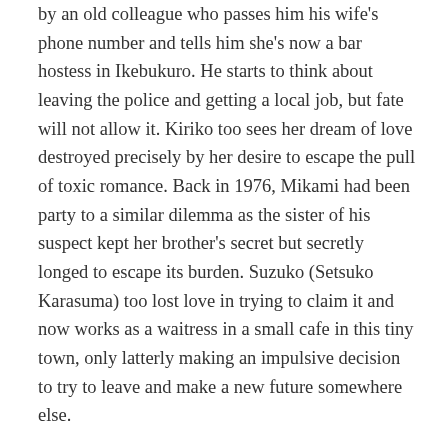by an old colleague who passes him his wife's phone number and tells him she's now a bar hostess in Ikebukuro. He starts to think about leaving the police and getting a local job, but fate will not allow it. Kiriko too sees her dream of love destroyed precisely by her desire to escape the pull of toxic romance. Back in 1976, Mikami had been party to a similar dilemma as the sister of his suspect kept her brother's secret but secretly longed to escape its burden. Suzuko (Setsuko Karasuma) too lost love in trying to claim it and now works as a waitress in a small cafe in this tiny town, only latterly making an impulsive decision to try to leave and make a new future somewhere else.
Mikami tears up the letter of resignation that declared him too tired of life to be a good policeman, once again boarding a train back to his rightful destination, knowing that a policeman's what he is and will always be. He watched his wife wave goodbye from a station platform, saw a man betrayed on the tracks, and finally boarded the train himself, letting go of any idea he might have had about going somewhere else. Stations are after all transitory places, you